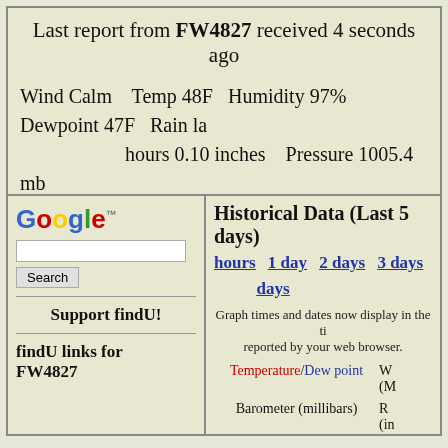Last report from FW4827 received 4 seconds ago
Wind Calm   Temp 48F  Humidity 97%  Dewpoint 47F  Rain la... hours 0.10 inches   Pressure 1005.4 mb
[Figure (logo): Google logo with search box and Search button]
Support findU!
findU links for FW4827
Historical Data (Last 5 days)
hours   1 day   2 days   3 days   days
Graph times and dates now display in the ti... reported by your web browser.
Temperature/Dew point
Barometer (millibars)